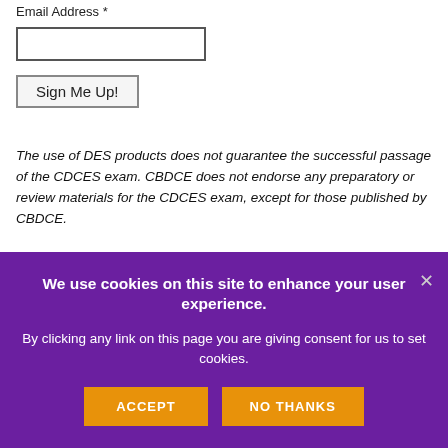Email Address *
Sign Me Up!
The use of DES products does not guarantee the successful passage of the CDCES exam. CBDCE does not endorse any preparatory or review materials for the CDCES exam, except for those published by CBDCE.
By Subscribing, Est Hat Essel S...
We use cookies on this site to enhance your user experience.
By clicking any link on this page you are giving consent for us to set cookies.
ACCEPT
NO THANKS